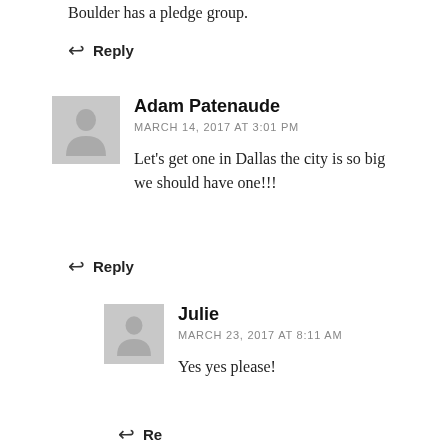Boulder has a pledge group.
Reply
Adam Patenaude
MARCH 14, 2017 AT 3:01 PM
Let's get one in Dallas the city is so big we should have one!!!
Reply
Julie
MARCH 23, 2017 AT 8:11 AM
Yes yes please!
Reply